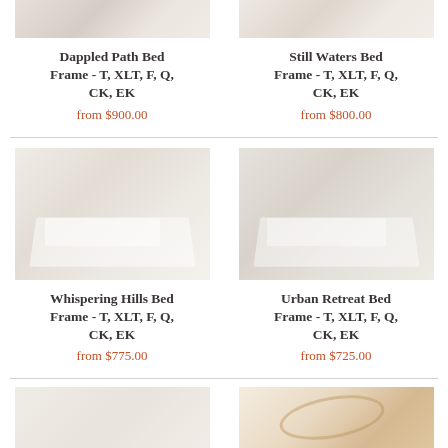[Figure (photo): Partial top of Dappled Path Bed Frame product image, cropped at top]
Dappled Path Bed Frame - T, XLT, F, Q, CK, EK
from $900.00
[Figure (photo): Partial top of Still Waters Bed Frame product image, cropped at top]
Still Waters Bed Frame - T, XLT, F, Q, CK, EK
from $800.00
[Figure (photo): Whispering Hills Bed Frame product image showing white bed frame]
Whispering Hills Bed Frame - T, XLT, F, Q, CK, EK
from $775.00
[Figure (photo): Urban Retreat Bed Frame product image showing white/light bed frame]
Urban Retreat Bed Frame - T, XLT, F, Q, CK, EK
from $725.00
[Figure (photo): Bottom partial crop of another bed frame product image, left column]
[Figure (photo): Bottom partial crop of another bed frame product image with warm tones, right column]